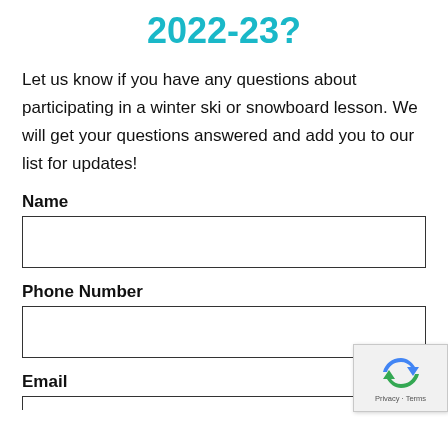2022-23?
Let us know if you have any questions about participating in a winter ski or snowboard lesson. We will get your questions answered and add you to our list for updates!
Name
Phone Number
Email